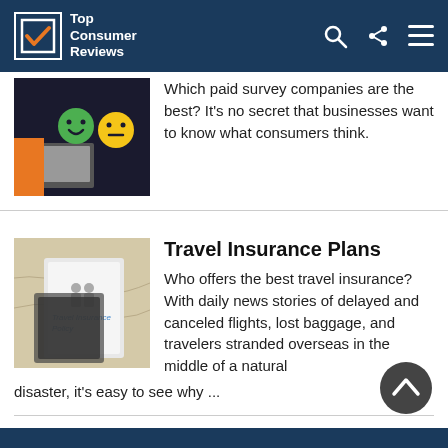Top Consumer Reviews
Which paid survey companies are the best? It's no secret that businesses want to know what consumers think.
Travel Insurance Plans
Who offers the best travel insurance? With daily news stories of delayed and canceled flights, lost baggage, and travelers stranded overseas in the middle of a natural disaster, it's easy to see why ...